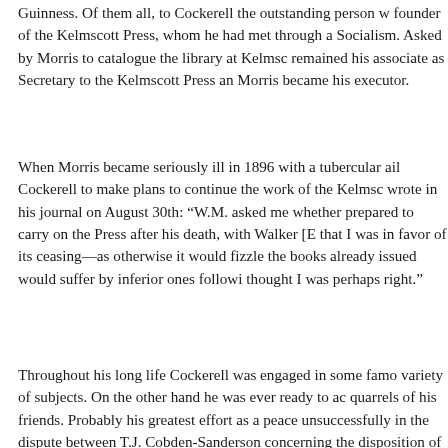Guinness. Of them all, to Cockerell the outstanding person w founder of the Kelmscott Press, whom he had met through a Socialism. Asked by Morris to catalogue the library at Kelmsco remained his associate as Secretary to the Kelmscott Press an Morris became his executor.
When Morris became seriously ill in 1896 with a tubercular ail Cockerell to make plans to continue the work of the Kelmsce wrote in his journal on August 30th: “W.M. asked me whether prepared to carry on the Press after his death, with Walker [E that I was in favor of its ceasing—as otherwise it would fizzle the books already issued would suffer by inferior ones followi thought I was perhaps right.”
Throughout his long life Cockerell was engaged in some famo variety of subjects. On the other hand he was ever ready to ac quarrels of his friends. Probably his greatest effort as a peace unsuccessfully in the dispute between T.J. Cobden-Sandersoo concerning the disposition of the Doves Press type. When W himself from the affairs of the Doves Press he desired to con